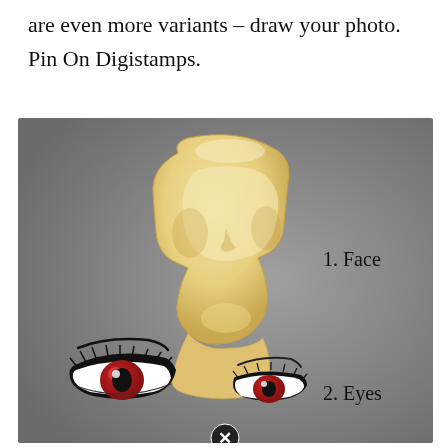are even more variants – draw your photo. Pin On Digistamps.
[Figure (illustration): Diagram showing face drawing components: 1. A 3D mannequin-style face/head form in beige/cream color on a gray background, labeled '1. Face'. 2. Two stylized anime-style eyes with red irises and dark lashes on the same gray background, labeled '2. Eyes'. A close button (circle with X) appears at the bottom center.]